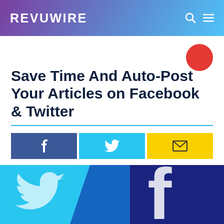REVUWIRE
Save Time And Auto-Post Your Articles on Facebook & Twitter
[Figure (illustration): Feature image showing Twitter bird logo on cyan background and Facebook 'f' logo on dark blue background, side by side]
[Figure (illustration): Red circle decorative element in upper right area]
[Figure (infographic): Social share buttons row: Facebook (dark blue, f icon), Twitter (cyan, bird icon), Email (yellow, envelope icon)]